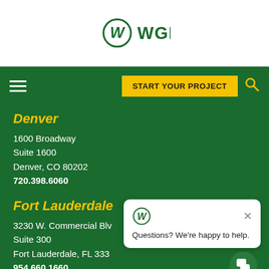[Figure (logo): WGI company logo - circular W mark with WGI text]
START YOUR PROJECT
Denver
1600 Broadway
Suite 1600
Denver, CO 80202
720.398.6060
Fort Lauderdale
3230 W. Commercial Blvd.
Suite 300
Fort Lauderdale, FL 333...
954.660.1660
Fort Myers
6310 Techster Blvd.,